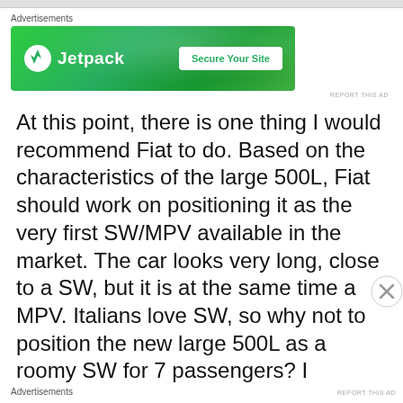Advertisements
[Figure (other): Jetpack advertisement banner with green background, Jetpack logo on the left and 'Secure Your Site' button on the right]
REPORT THIS AD
At this point, there is one thing I would recommend Fiat to do. Based on the characteristics of the large 500L, Fiat should work on positioning it as the very first SW/MPV available in the market. The car looks very long, close to a SW, but it is at the same time a MPV. Italians love SW, so why not to position the new large 500L as a roomy SW for 7 passengers? I…
Advertisements
REPORT THIS AD